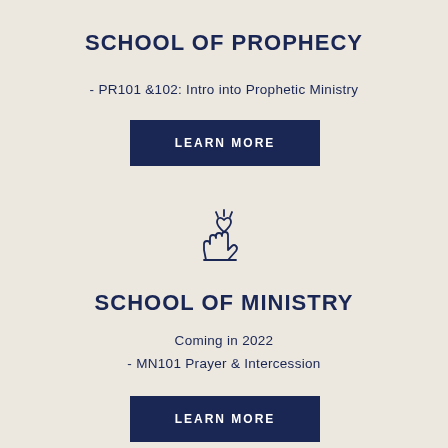SCHOOL OF PROPHECY
- PR101 &102: Intro into Prophetic Ministry
[Figure (other): Dark navy blue rectangular button with white text reading LEARN MORE]
[Figure (illustration): Icon of an open hand with a heart above it representing giving or ministry]
SCHOOL OF MINISTRY
Coming in 2022
- MN101 Prayer & Intercession
[Figure (other): Dark navy blue rectangular button with white text reading LEARN MORE]